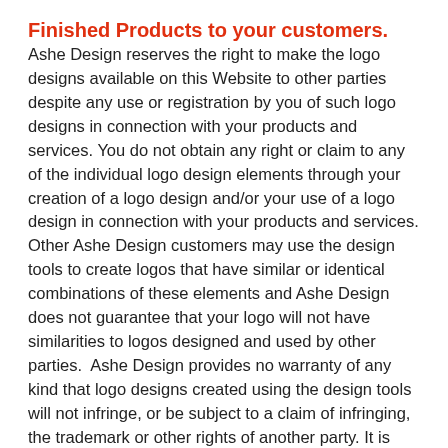Finished Products to your customers.
Ashe Design reserves the right to make the logo designs available on this Website to other parties despite any use or registration by you of such logo designs in connection with your products and services. You do not obtain any right or claim to any of the individual logo design elements through your creation of a logo design and/or your use of a logo design in connection with your products and services. Other Ashe Design customers may use the design tools to create logos that have similar or identical combinations of these elements and Ashe Design does not guarantee that your logo will not have similarities to logos designed and used by other parties.  Ashe Design provides no warranty of any kind that logo designs created using the design tools will not infringe, or be subject to a claim of infringing, the trademark or other rights of another party. It is solely